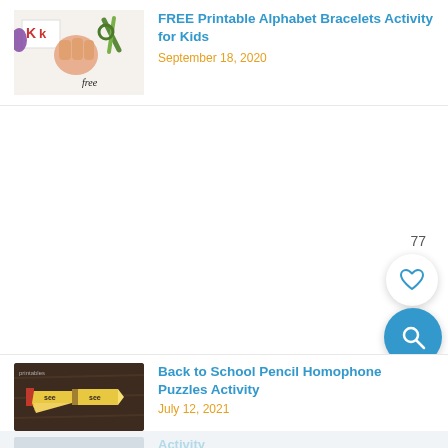[Figure (photo): Child holding letter K flash card with scissors and craft items, text 'free' visible]
FREE Printable Alphabet Bracelets Activity for Kids
September 18, 2020
[Figure (other): Large white/empty ad space area with like count 77, heart/like button and search button overlaid]
[Figure (photo): Back to school pencil shaped puzzle pieces on dark wood background]
Back to School Pencil Homophone Puzzles Activity
July 12, 2021
[Figure (photo): Partially visible image at bottom, appears to show FREE printable activity with light background]